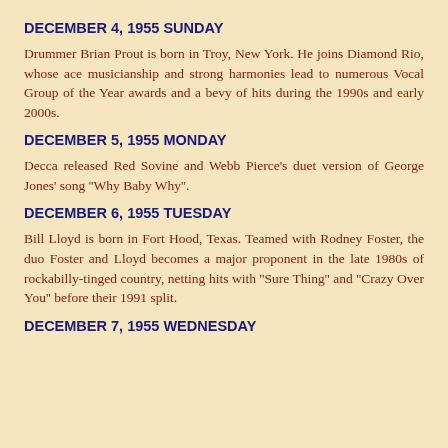DECEMBER 4, 1955 SUNDAY
Drummer Brian Prout is born in Troy, New York. He joins Diamond Rio, whose ace musicianship and strong harmonies lead to numerous Vocal Group of the Year awards and a bevy of hits during the 1990s and early 2000s.
DECEMBER 5, 1955 MONDAY
Decca released Red Sovine and Webb Pierce's duet version of George Jones' song "Why Baby Why".
DECEMBER 6, 1955 TUESDAY
Bill Lloyd is born in Fort Hood, Texas. Teamed with Rodney Foster, the duo Foster and Lloyd becomes a major proponent in the late 1980s of rockabilly-tinged country, netting hits with "Sure Thing" and "Crazy Over You" before their 1991 split.
DECEMBER 7, 1955 WEDNESDAY